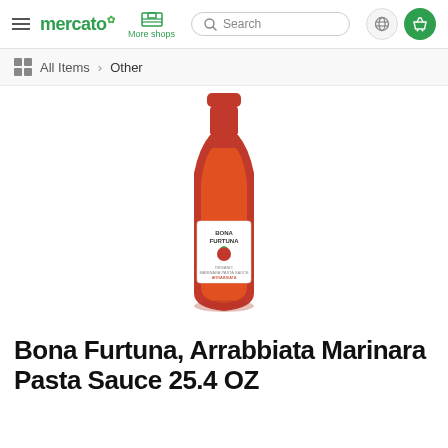mercato | More shops | Search | globe icon | basket icon
All Items > Other
[Figure (photo): Glass bottle of Bona Furtuna Arrabbiata Marinara Pasta Sauce with a red lid, white label showing BONA FURTUNA brand name and a tomato graphic]
Bona Furtuna, Arrabbiata Marinara Pasta Sauce 25.4 OZ